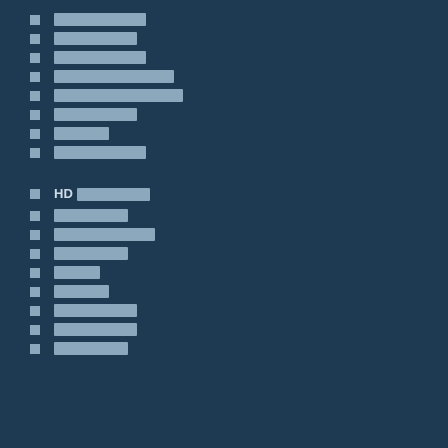██████████
█████████
██████████
█████████████
██████████████
█████████
██████
██████████
HD ████████
████████
███████████
████████
█████
██████
█████████
█████████
████████